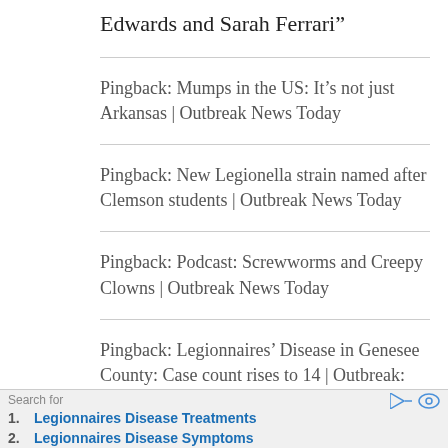Edwards and Sarah Ferrari”
Pingback: Mumps in the US: It’s not just Arkansas | Outbreak News Today
Pingback: New Legionella strain named after Clemson students | Outbreak News Today
Pingback: Podcast: Screwworms and Creepy Clowns | Outbreak News Today
Pingback: Legionnaires’ Disease in Genesee County: Case count rises to 14 | Outbreak:
Search for
1. Legionnaires Disease Treatments
2. Legionnaires Disease Symptoms